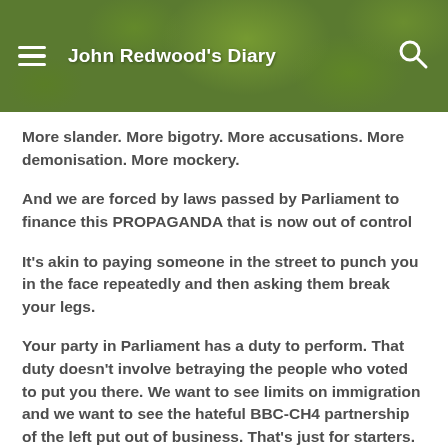John Redwood's Diary
More slander. More bigotry. More accusations. More demonisation. More mockery.
And we are forced by laws passed by Parliament to finance this PROPAGANDA that is now out of control
It's akin to paying someone in the street to punch you in the face repeatedly and then asking them break your legs.
Your party in Parliament has a duty to perform. That duty doesn't involve betraying the people who voted to put you there. We want to see limits on immigration and we want to see the hateful BBC-CH4 partnership of the left put out of business. That's just for starters. If you fail to do this then Johnson will become a lame duck PM and Marxist Labour will